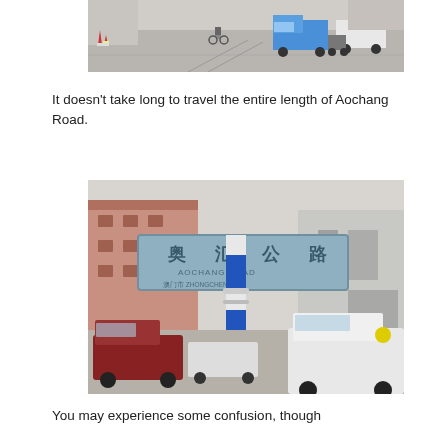[Figure (photo): Street scene showing a road with a cyclist, a blue pickup truck, and a motorcyclist. Buildings and construction cones visible on the sides.]
It doesn't take long to travel the entire length of Aochang Road.
[Figure (photo): Photo of a Chinese street sign on a blue and white pole reading Aochang Road in Chinese characters and English. Buildings and parked cars visible in the background.]
You may experience some confusion, though